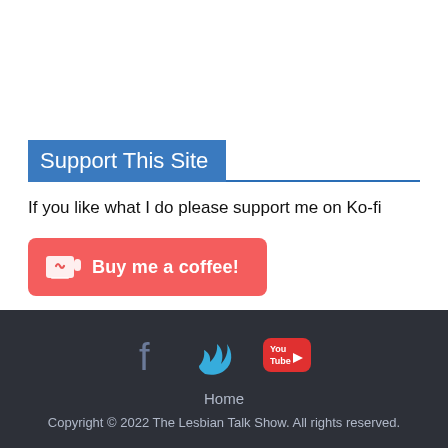Support This Site
If you like what I do please support me on Ko-fi
[Figure (other): Ko-fi 'Buy me a coffee!' button with red background and coffee cup icon]
Home
Copyright © 2022 The Lesbian Talk Show. All rights reserved.